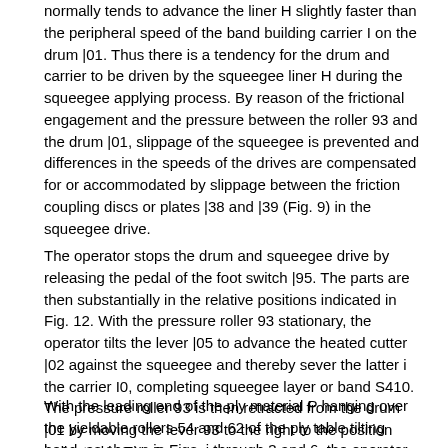normally tends to advance the liner H slightly faster than the peripheral speed of the band building carrier I on the drum |01. Thus there is a tendency for the drum and carrier to be driven by the squeegee liner H during the squeegee applying process. By reason of the frictional engagement and the pressure between the roller 93 and the drum |01, slippage of the squeegee is prevented and differences in the speeds of the drives are compensated for or accommodated by slippage between the friction coupling discs or plates |38 and |39 (Fig. 9) in the squeegee drive.
The operator stops the drum and squeegee drive by releasing the pedal of the foot switch |95. The parts are then substantially in the relative positions indicated in Fig. 12. With the pressure roller 93 stationary, the operator tilts the lever |05 to advance the heated cutter |02 against the squeegee and thereby sever the latter i the carrier I0, completing squeegee layer or band S410. The pressure roller 93 is then retracted from the drum |01 by moving the lever 93 to the right to the position indicated in Fig. 8.
With the leading end of the ply material P hanging over the yieldable rollers 54 and 62 of the ply table tilting head, as shown in Figs. i through 3 and 6, the operator shifts the